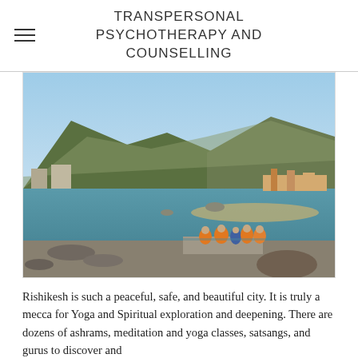TRANSPERSONAL PSYCHOTHERAPY AND COUNSELLING
[Figure (photo): Monks in orange robes sitting on a stone platform by the Ganges River in Rishikesh, India, with green mountains in the background and a riverside town visible across the water.]
Rishikesh is such a peaceful, safe, and beautiful city. It is truly a mecca for Yoga and Spiritual exploration and deepening. There are dozens of ashrams, meditation and yoga classes, satsangs, and gurus to discover and